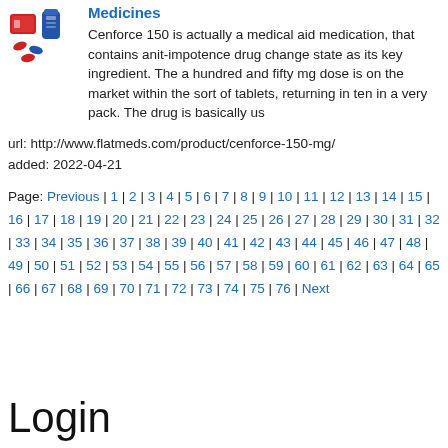[Figure (photo): Small product images of Cenforce 150 medicine packaging]
Medicines
Cenforce 150 is actually a medical aid medication, that contains anit-impotence drug change state as its key ingredient. The a hundred and fifty mg dose is on the market within the sort of tablets, returning in ten in a very pack. The drug is basically us
url: http://www.flatmeds.com/product/cenforce-150-mg/
added: 2022-04-21
Page: Previous | 1 | 2 | 3 | 4 | 5 | 6 | 7 | 8 | 9 | 10 | 11 | 12 | 13 | 14 | 15 | 16 | 17 | 18 | 19 | 20 | 21 | 22 | 23 | 24 | 25 | 26 | 27 | 28 | 29 | 30 | 31 | 32 | 33 | 34 | 35 | 36 | 37 | 38 | 39 | 40 | 41 | 42 | 43 | 44 | 45 | 46 | 47 | 48 | 49 | 50 | 51 | 52 | 53 | 54 | 55 | 56 | 57 | 58 | 59 | 60 | 61 | 62 | 63 | 64 | 65 | 66 | 67 | 68 | 69 | 70 | 71 | 72 | 73 | 74 | 75 | 76 | Next
Login